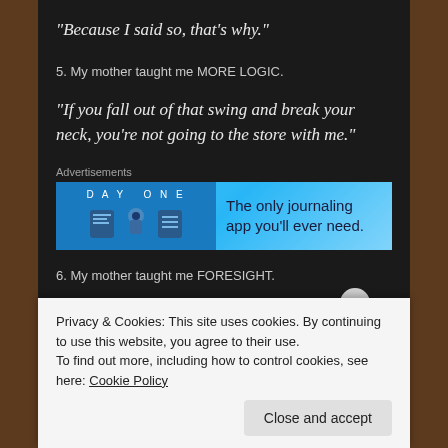“Because I said so, that’s why.”
5. My mother taught me MORE LOGIC.
“If you fall out of that swing and break your neck, you’re not going to the store with me.”
[Figure (other): Day One journaling app advertisement banner with blue background. Left side shows 'DAY ONE' text with app icons. Right side reads 'The only journaling app you’ll ever need.']
6. My mother taught me FORESIGHT.
Privacy & Cookies: This site uses cookies. By continuing to use this website, you agree to their use.
To find out more, including how to control cookies, see here: Cookie Policy